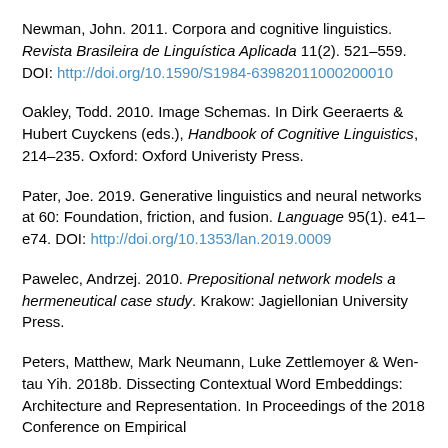Newman, John. 2011. Corpora and cognitive linguistics. Revista Brasileira de Linguística Aplicada 11(2). 521–559. DOI: http://doi.org/10.1590/S1984-63982011000200010
Oakley, Todd. 2010. Image Schemas. In Dirk Geeraerts & Hubert Cuyckens (eds.), Handbook of Cognitive Linguistics, 214–235. Oxford: Oxford Univeristy Press.
Pater, Joe. 2019. Generative linguistics and neural networks at 60: Foundation, friction, and fusion. Language 95(1). e41–e74. DOI: http://doi.org/10.1353/lan.2019.0009
Pawelec, Andrzej. 2010. Prepositional network models a hermeneutical case study. Krakow: Jagiellonian University Press.
Peters, Matthew, Mark Neumann, Luke Zettlemoyer & Wen-tau Yih. 2018b. Dissecting Contextual Word Embeddings: Architecture and Representation. In Proceedings of the 2018 Conference on Empirical